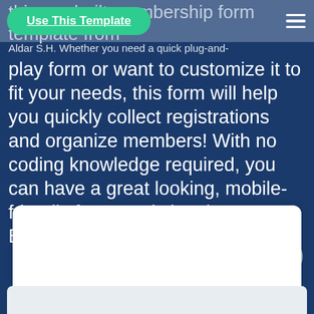Use This Template
this pre-built membership form template from Aldar S.H. Whether you need a quick plug-and-play form or want to customize it to fit your needs, this form will help you quickly collect registrations and organize members! With no coding knowledge required, you can have a great looking, mobile-friendly form ready in minutes. Best of all - it's totally free!
[Figure (screenshot): White form card / embedded form area at the bottom of the page]